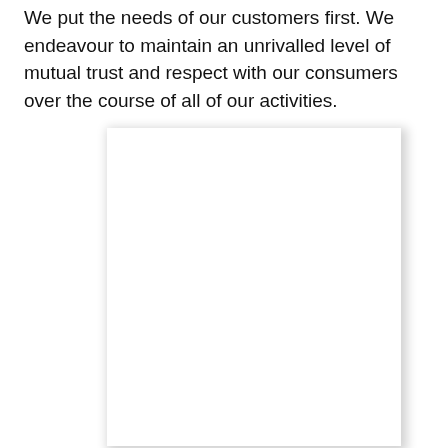We put the needs of our customers first. We endeavour to maintain an unrivalled level of mutual trust and respect with our consumers over the course of all of our activities.
[Figure (other): A white rectangular card or document with a drop shadow, shown against a white background. The card appears blank/empty.]